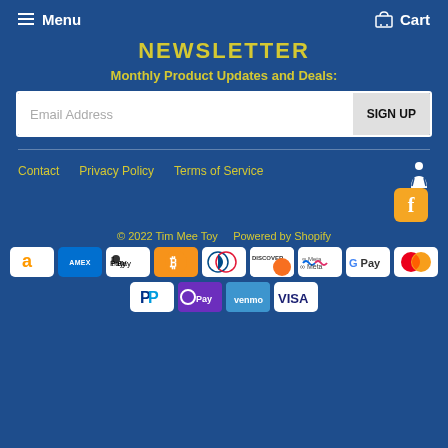Menu   Cart
NEWSLETTER
Monthly Product Updates and Deals:
Email Address  SIGN UP
Contact   Privacy Policy   Terms of Service
© 2022 Tim Mee Toy   Powered by Shopify
[Figure (other): Payment method icons: Amazon, Amex, Apple Pay, Bitcoin, Diners, Discover, Meta Pay, Google Pay, Mastercard, PayPal, OPay, Venmo, Visa]